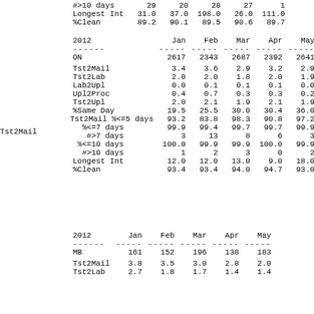|  | Jan | Feb | Mar | Apr | May |
| --- | --- | --- | --- | --- | --- |
| #>10 days | 29 | 20 | 28 | 27 | 1 |
| Longest Int | 31.0 | 37.0 | 198.0 | 26.0 | 111.0 |
| %Clean | 89.2 | 90.1 | 89.5 | 90.6 | 89.7 |
| 2012 | Jan | Feb | Mar | Apr | May |
| --- | --- | --- | --- | --- | --- |
| ------ | ----- | ----- | ----- | ----- | ----- |
| ON | 2617 | 2343 | 2687 | 2392 | 2641 |
| Tst2Mail | 3.4 | 3.6 | 2.9 | 3.2 | 2.9 |
| Tst2Lab | 2.0 | 2.0 | 1.8 | 2.0 | 1.9 |
| Lab2Upl | 0.0 | 0.1 | 0.1 | 0.1 | 0.0 |
| Upl2Proc | 0.4 | 0.7 | 0.3 | 0.3 | 0.2 |
| Tst2Upl | 2.0 | 2.1 | 1.9 | 2.1 | 1.9 |
| %Same Day | 19.5 | 25.5 | 30.0 | 30.4 | 36.0 |
| Tst2Mail %<=5 days | 93.2 | 83.8 | 98.3 | 90.8 | 97.2 |
| %<=7 days | 99.9 | 99.4 | 99.7 | 99.7 | 99.9 |
| #>7 days | 3 | 13 | 8 | 6 | 3 |
| %<=10 days | 100.0 | 99.9 | 99.9 | 100.0 | 99.9 |
| #>10 days | 1 | 2 | 3 | 0 | 2 |
| Longest Int | 12.0 | 12.0 | 13.0 | 9.0 | 18.0 |
| %Clean | 93.4 | 93.4 | 94.0 | 94.7 | 93.0 |
| 2012 | Jan | Feb | Mar | Apr | May |
| --- | --- | --- | --- | --- | --- |
| ------ | ----- | ----- | ----- | ----- | ----- |
| MB | 161 | 152 | 196 | 138 | 183 |
| Tst2Mail | 3.8 | 3.5 | 3.0 | 2.8 | 2.0 |
| Tst2Lab | 2.7 | 1.8 | 1.7 | 1.4 | 1.4 |